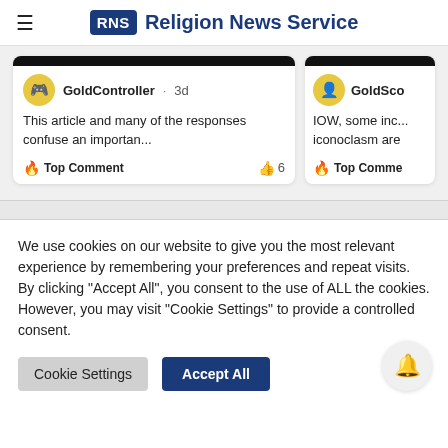Religion News Service
[Figure (screenshot): Two comment cards from a comments section. Left card: GoldController · 3d — 'This article and many of the responses confuse an importan...' Top Comment with 6 likes. Right card (partially visible): GoldSco... — 'IOW, some inc... iconoclasm are' Top Comme...]
We use cookies on our website to give you the most relevant experience by remembering your preferences and repeat visits. By clicking "Accept All", you consent to the use of ALL the cookies. However, you may visit "Cookie Settings" to provide a controlled consent.